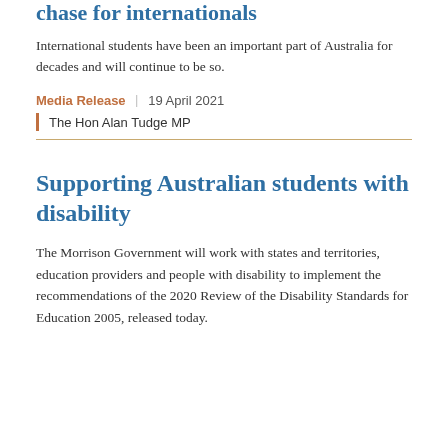chase for internationals
International students have been an important part of Australia for decades and will continue to be so.
Media Release  |  19 April 2021
The Hon Alan Tudge MP
Supporting Australian students with disability
The Morrison Government will work with states and territories, education providers and people with disability to implement the recommendations of the 2020 Review of the Disability Standards for Education 2005, released today.